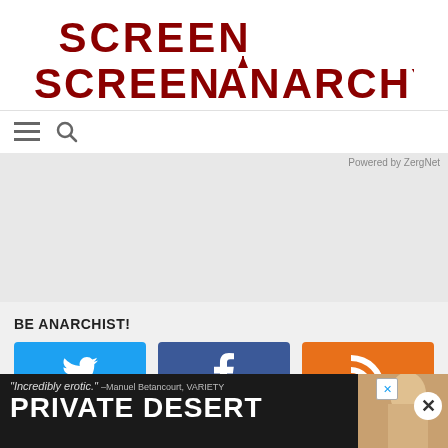[Figure (logo): ScreenAnarchy website logo in dark red/maroon bold uppercase text with stylized anarchy symbol 'A']
[Figure (screenshot): Navigation row with hamburger menu icon and search icon]
Powered by ZergNet
[Figure (screenshot): Gray content placeholder area (ZergNet widget area)]
BE ANARCHIST!
[Figure (infographic): Three social media buttons: Twitter (blue bird icon), Facebook (dark blue f icon), RSS (orange wifi/rss icon)]
SUBSCRIBE TO SCREEN ANARCHY
[Figure (screenshot): Email subscription input field with subscribe button and ad overlay banner at bottom showing 'Incredibly erotic.' quote and PRIVATE DESERT text with person image and close buttons]